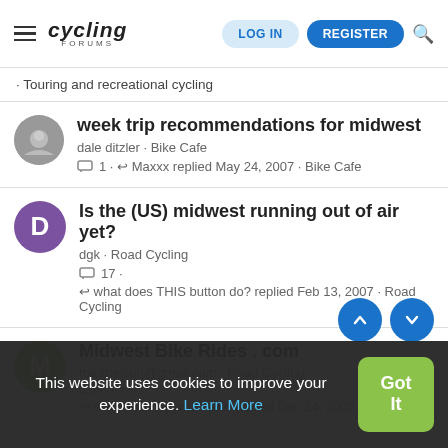Cycling Forums — LOG IN | REGISTER
· Touring and recreational cycling
week trip recommendations for midwest
dale ditzler · Bike Cafe
1 · Maxxx replied May 24, 2007 · Bike Cafe
Is the (US) midwest running out of air yet?
dgk · Road Cycling
17 ·
what does THIS button do? replied Feb 13, 2007 · Road Cycling
Midwest Bike Rides . com
micknelson@gmail.com · Road Cycling
0 ·
micknelson@gmail.com replied Dec 24, 2005
Looking for Polska cycling team in Midwest
This website uses cookies to improve your experience. Learn More